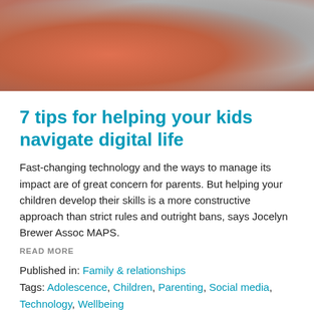[Figure (photo): Two people looking at a smartphone together, one wearing an orange top]
7 tips for helping your kids navigate digital life
Fast-changing technology and the ways to manage its impact are of great concern for parents. But helping your children develop their skills is a more constructive approach than strict rules and outright bans, says Jocelyn Brewer Assoc MAPS.
READ MORE
Published in: Family & relationships
Tags: Adolescence, Children, Parenting, Social media, Technology, Wellbeing
[Figure (photo): Abstract blurred teal/cyan background image]